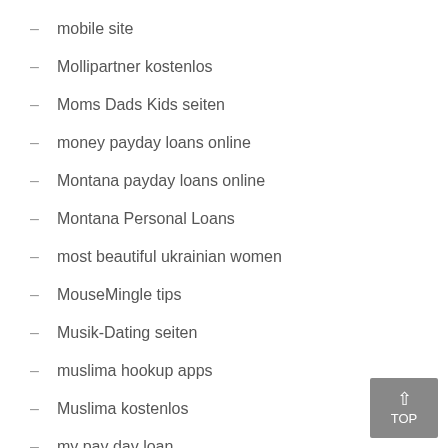mobile site
Mollipartner kostenlos
Moms Dads Kids seiten
money payday loans online
Montana payday loans online
Montana Personal Loans
most beautiful ukrainian women
MouseMingle tips
Musik-Dating seiten
muslima hookup apps
Muslima kostenlos
my pay day loan
my payday loan
MyFlirt preise